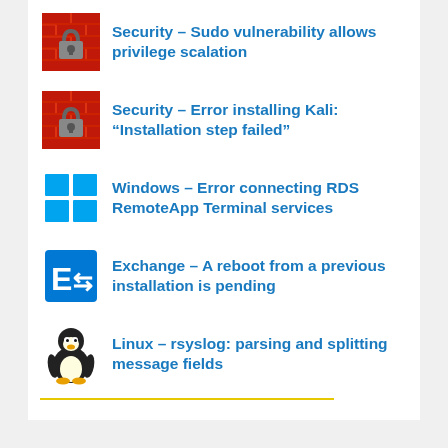Security – Sudo vulnerability allows privilege scalation
Security – Error installing Kali: “Installation step failed”
Windows – Error connecting RDS RemoteApp Terminal services
Exchange – A reboot from a previous installation is pending
Linux – rsyslog: parsing and splitting message fields